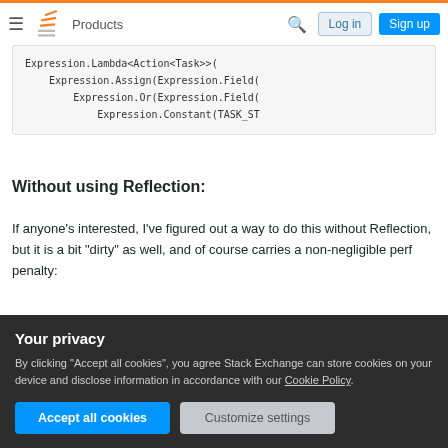Products | Log in | Sign up
Expression.Lambda<Action<Task>>(
    Expression.Assign(Expression.Field(
        Expression.Or(Expression.Field(
            Expression.Constant(TASK_ST
Without using Reflection:
If anyone's interested, I've figured out a way to do this without Reflection, but it is a bit "dirty" as well, and of course carries a non-negligible perf penalty:
try
Your privacy
By clicking "Accept all cookies", you agree Stack Exchange can store cookies on your device and disclose information in accordance with our Cookie Policy.
Accept all cookies  Customize settings